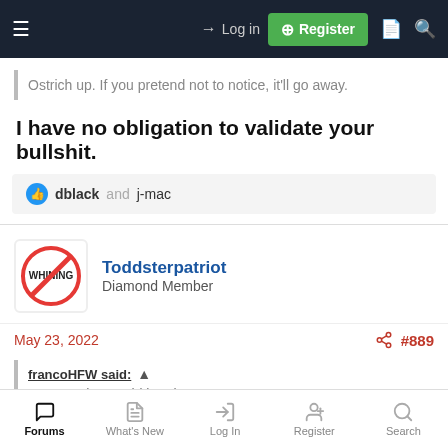Log in | Register
Ostrich up. If you pretend not to notice, it'll go away.
I have no obligation to validate your bullshit.
👍 dblack and j-mac
Toddsterpatriot
Diamond Member
May 23, 2022   #889
francoHFW said: ↑
Because he would be alone DUH...
Forums | What's New | Log In | Register | Search